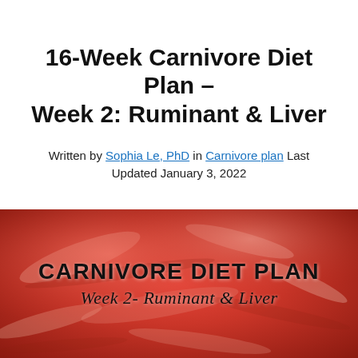16-Week Carnivore Diet Plan – Week 2: Ruminant & Liver
Written by Sophia Le, PhD in Carnivore plan Last Updated January 3, 2022
[Figure (photo): Close-up photo of raw red meat (beef) with overlaid text reading 'Carnivore Diet Plan' and 'Week 2- Ruminant & Liver']